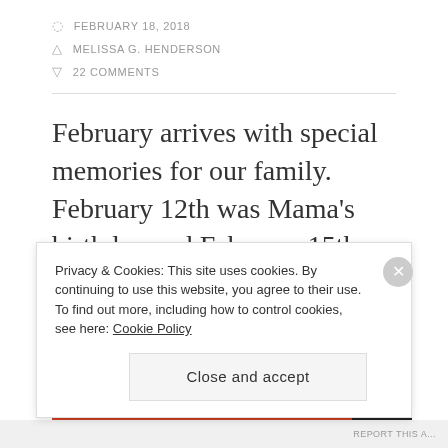FEBRUARY 18, 2018
MELISSA G. HENDERSON
22 COMMENTS
February arrives with special memories for our family.  February 12th was Mama's birthday and February 15th, 2005 was my breast cancer diagnosis. There are
Privacy & Cookies: This site uses cookies. By continuing to use this website, you agree to their use.
To find out more, including how to control cookies, see here: Cookie Policy
Close and accept